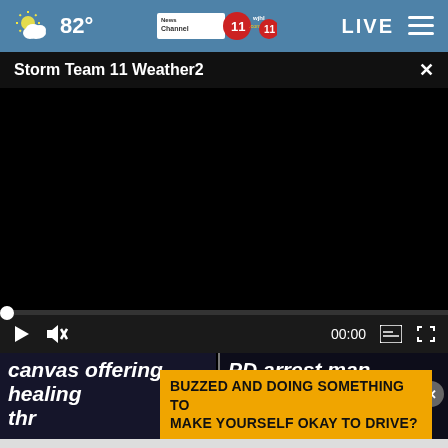82° News Channel 11 wjhl.com 11 LIVE
Storm Team 11 Weather2
[Figure (screenshot): Black video player area — video not loaded, showing empty black frame]
00:00
canvas offering healing thr
PD arrest man after poli
BUZZED AND DOING SOMETHING TO MAKE YOURSELF OKAY TO DRIVE?